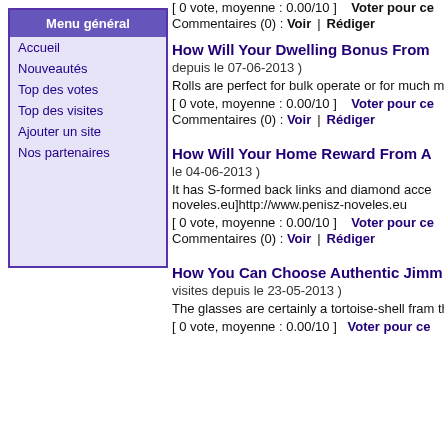Menu général
Accueil
Nouveautés
Top des votes
Top des visites
Ajouter un site
Nos partenaires
[ 0 vote, moyenne : 0.00/10 ]    Voter pour ce
Commentaires (0) : Voir  |  Rédiger
How Will Your Dwelling Bonus From
depuis le 07-06-2013 )
Rolls are perfect for bulk operate or for much match in a pouch device. xtrasize
[ 0 vote, moyenne : 0.00/10 ]    Voter pour ce
Commentaires (0) : Voir  |  Rédiger
How Will Your Home Reward From A
le 04-06-2013 )
It has S-formed back links and diamond accents noveles.eu]http://www.penisz-noveles.eu
[ 0 vote, moyenne : 0.00/10 ]    Voter pour ce
Commentaires (0) : Voir  |  Rédiger
How You Can Choose Authentic Jimm
visites depuis le 23-05-2013 )
The glasses are certainly a tortoise-shell fram those consuming big faces, furthermore vice v
[ 0 vote, moyenne : 0.00/10 ]   Voter pour ce